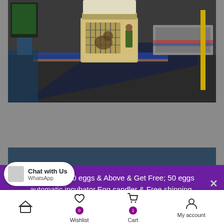[Figure (photo): A pet carrier/crate on a baggage conveyor belt at an airport tarmac, with a truck and ground equipment visible in the background. Dark-toned photo.]
[Figure (photo): Partial view of a dark-colored curved surface, possibly a vehicle or container, with blue sky visible. Bottom portion is partially obscured by the purple banner.]
Order from 20 eggs & Above & Get Free; 50 eggs automatic incubator,Egg candler & Free shipping.
Chat with Us  WhatsApp  Wishlist 0  Cart 1  My account